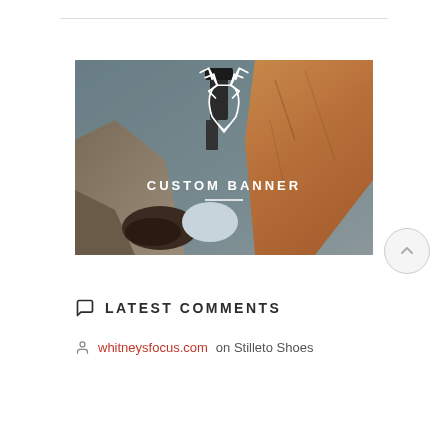[Figure (illustration): Custom banner image showing a person from above on rocky terrain holding a camera, with a white deer/stag logo overlaid and text 'CUSTOM BANNER' with a short white horizontal rule beneath it]
LATEST COMMENTS
whitneysfocus.com on Stilleto Shoes